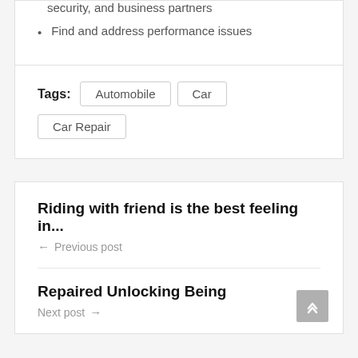security, and business partners
Find and address performance issues
Tags: Automobile  Car  Car Repair
Riding with friend is the best feeling in...
← Previous post
Repaired Unlocking Being
Next post →